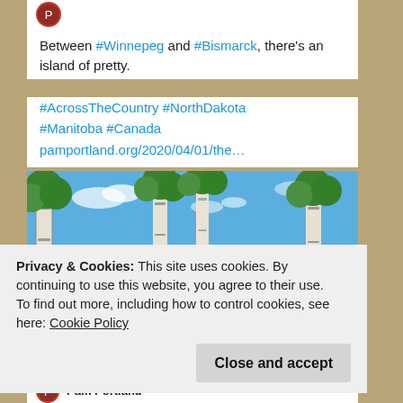[Figure (illustration): Partial avatar circle icon at top left of tweet card, red/dark colored circular profile image]
Between #Winnepeg and #Bismarck, there's an island of pretty.
#AcrossTheCountry #NorthDakota #Manitoba #Canada pamportland.org/2020/04/01/the…
[Figure (photo): Landscape photo showing birch trees in foreground with a calm river/lake and green forest in the background under a blue sky with light clouds]
Privacy & Cookies: This site uses cookies. By continuing to use this website, you agree to their use.
To find out more, including how to control cookies, see here: Cookie Policy
Close and accept
[Figure (illustration): Partial avatar circle at bottom of card for Pam Portland]
Pam Portland